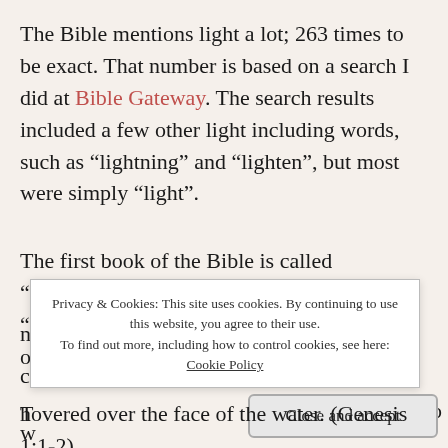The Bible mentions light a lot; 263 times to be exact. That number is based on a search I did at Bible Gateway. The search results included a few other light including words, such as “lightning” and “lighten”, but most were simply “light”.
The first book of the Bible is called “Genesis”, which means “Origin” or “Beginning”. It is the record of the beginning of the earth and the beginning of
hovered over the face of the water. (Genesis 1:1-2)
Privacy & Cookies: This site uses cookies. By continuing to use this website, you agree to their use. To find out more, including how to control cookies, see here: Cookie Policy